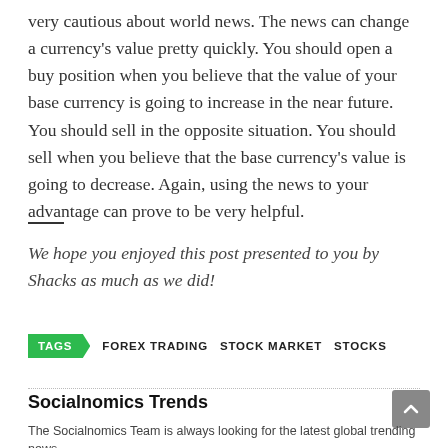very cautious about world news. The news can change a currency's value pretty quickly. You should open a buy position when you believe that the value of your base currency is going to increase in the near future. You should sell in the opposite situation. You should sell when you believe that the base currency's value is going to decrease. Again, using the news to your advantage can prove to be very helpful.
We hope you enjoyed this post presented to you by Shacks as much as we did!
TAGS  FOREX TRADING  STOCK MARKET  STOCKS
Socialnomics Trends
The Socialnomics Team is always looking for the latest global trending news